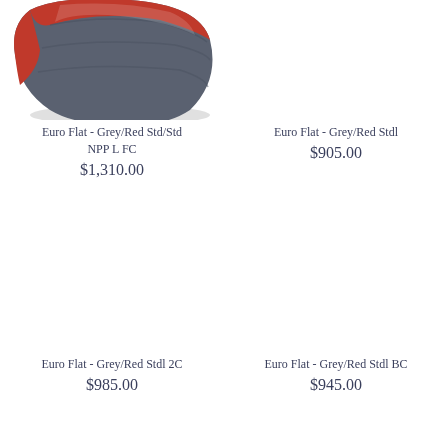[Figure (photo): Partial view of a grey and red sleeping bag (Euro Flat style), shown from above, cut off at top of page]
Euro Flat - Grey/Red Std/Std NPP L FC
$1,310.00
Euro Flat - Grey/Red Stdl
$905.00
Euro Flat - Grey/Red Stdl 2C
$985.00
Euro Flat - Grey/Red Stdl BC
$945.00